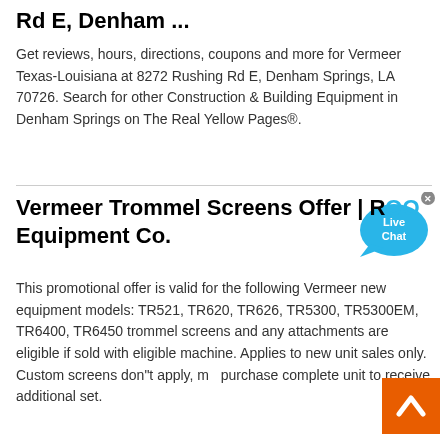Rd E, Denham ...
Get reviews, hours, directions, coupons and more for Vermeer Texas-Louisiana at 8272 Rushing Rd E, Denham Springs, LA 70726. Search for other Construction & Building Equipment in Denham Springs on The Real Yellow Pages®.
Vermeer Trommel Screens Offer | RDO Equipment Co.
This promotional offer is valid for the following Vermeer new equipment models: TR521, TR620, TR626, TR5300, TR5300EM, TR6400, TR6450 trommel screens and any attachments are eligible if sold with eligible machine. Applies to new unit sales only. Custom screens don"t apply, must purchase complete unit to receive additional set.